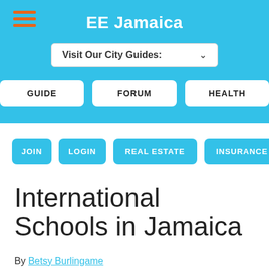EE Jamaica
Visit Our City Guides:
GUIDE   FORUM   HEALTH
JOIN   LOGIN   REAL ESTATE   INSURANCE
International Schools in Jamaica
By Betsy Burlingame